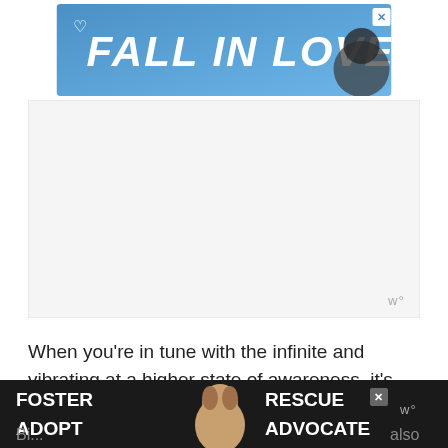[Figure (screenshot): Advertisement banner with blue background reading 'FALL IN LOVE' in white italic bold text, with a dog image on the right and a heart icon on the left, close button top right]
[Figure (screenshot): Empty advertisement box placeholder in light gray]
When you’re in tune with the infinite and vibrating at a higher state of awareness, it’s possible that you might be able to control the energies around you and play with the elements of your reality as you please.
12. Sign of Good Luck
[Figure (screenshot): Advertisement banner with dark background showing 'FOSTER ADOPT' and 'RESCUE ADVOCATE' text with a beagle dog image in the center]